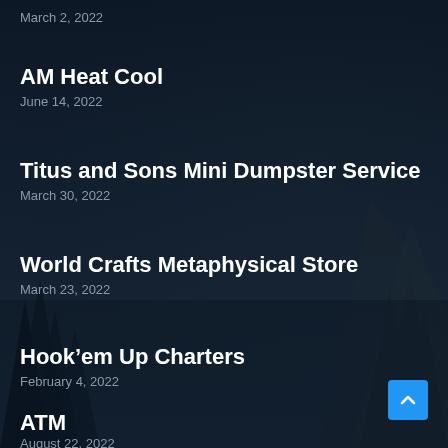March 2, 2022
AM Heat Cool
June 14, 2022
Titus and Sons Mini Dumpster Service
March 30, 2022
World Crafts Metaphysical Store
March 23, 2022
Hook’em Up Charters
February 4, 2022
ATM
August 22, 2022